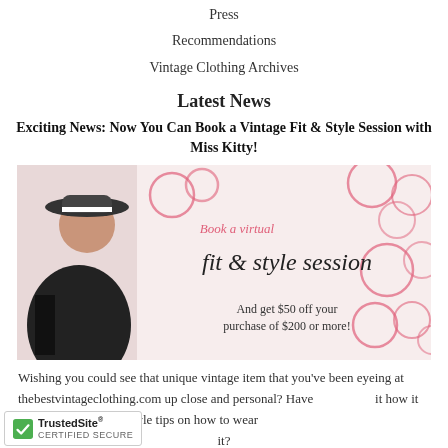Press
Recommendations
Vintage Clothing Archives
Latest News
Exciting News: Now You Can Book a Vintage Fit & Style Session with Miss Kitty!
[Figure (photo): Promotional banner for a virtual fit & style session. Shows a woman in a black vintage dress and wide-brim hat on the left. Text reads 'Book a virtual fit & style session' in pink and black. Additional text: 'And get $50 off your purchase of $200 or more!' Decorative pink circle brushstroke designs on white background.]
Wishing you could see that unique vintage item that you've been eyeing at thebestvintageclothing.com up close and personal? Have it how it will fit? Looking for style tips on how to wear it?